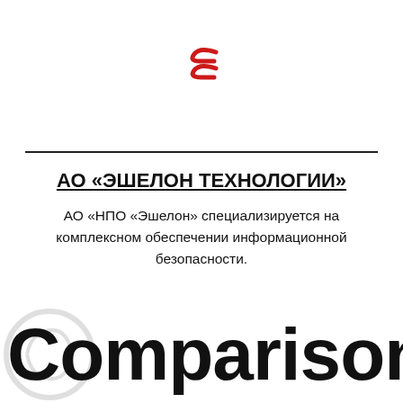[Figure (logo): Red stylized 'E' or Echelon logo mark in red, resembling two horizontal lines with a curved element, centered at top of page]
АО «ЭШЕЛОН ТЕХНОЛОГИИ»
АО «НПО «Эшелон» специализируется на комплексном обеспечении информационной безопасности.
Comparison